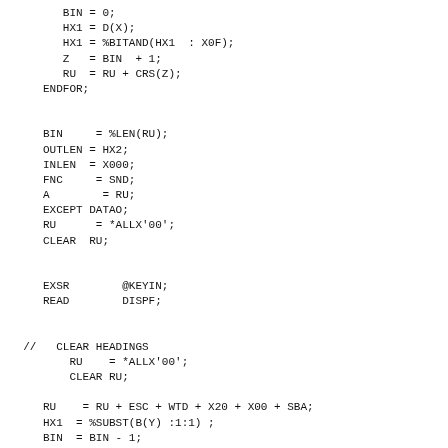BIN = 0;
    HX1 = D(X);
    HX1 = %BITAND(HX1  : X0F);
    Z   = BIN  + 1;
    RU  = RU + CRS(Z);
 ENDFOR;


 BIN     = %LEN(RU);
 OUTLEN = HX2;
 INLEN  = X000;
 FNC     = SND;
 A        = RU;
 EXCEPT DATAO;
 RU      = *ALLX'00';
 CLEAR  RU;


 EXSR        @KEYIN;
 READ        DISPF;


//   CLEAR HEADINGS
     RU    = *ALLX'00';
     CLEAR RU;

  RU    = RU + ESC + WTD + X20 + X00 + SBA;
  HX1  = %SUBST(B(Y) :1:1) ;
  BIN  = BIN - 1;
  RU    = RU + HX1 + %SUBST(B(Y):2:1);
  FOR X = S(Y) TO E(Y);
   RU = RU + ' ';
  ENDFOR;
  RU = RU + ' ';

  BIN     = %LEN(RU);
  OUTLEN = HX2;
  INLEN  = X000;